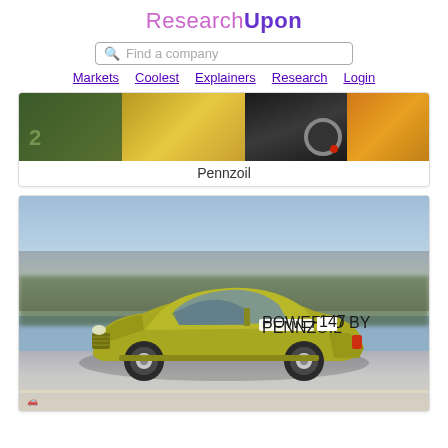ResearchUpon
[Figure (screenshot): Search bar with placeholder text 'Find a company']
Markets   Coolest   Explainers   Research   Login
[Figure (photo): Pennzoil branded collage banner image showing car-related imagery in yellow and green tones]
Pennzoil
[Figure (photo): Gold/olive colored vintage race car (number 147, powered by Pennzoil) racing on a track with blurred background]